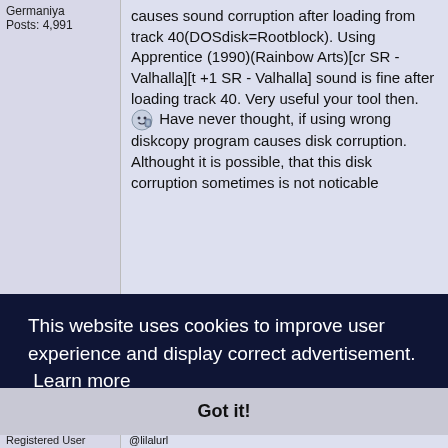Germaniya
Posts: 4,991
causes sound corruption after loading from track 40(DOSdisk=Rootblock). Using Apprentice (1990)(Rainbow Arts)[cr SR - Valhalla][t +1 SR - Valhalla] sound is fine after loading track 40. Very useful your tool then. [emoji] Have never thought, if using wrong diskcopy program causes disk corruption. Althought it is possible, that this disk corruption sometimes is not noticable
This website uses cookies to improve user experience and display correct advertisement. Learn more
Got it!
Registered User
@lilalurl